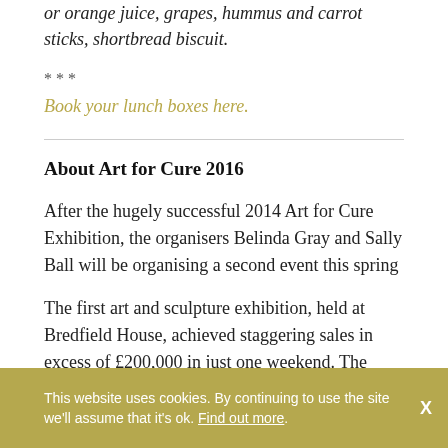or orange juice, grapes, hummus and carrot sticks, shortbread biscuit.
***
Book your lunch boxes here.
About Art for Cure 2016
After the hugely successful 2014 Art for Cure Exhibition, the organisers Belinda Gray and Sally Ball will be organising a second event this spring
The first art and sculpture exhibition, held at Bredfield House, achieved staggering sales in excess of £200,000 in just one weekend. The chosen charity, Breakthrough Breast Cancer, was
This website uses cookies. By continuing to use the site we'll assume that it's ok. Find out more.